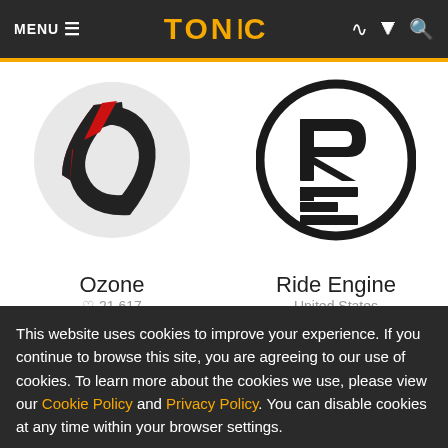MENU ≡   TONIC   (RSS) (Share) (Search)
[Figure (logo): Ozone kite brand logo: stylized dark parallelogram/O shape with red accent on white circle background]
[Figure (logo): Ride Engine brand logo: RE letters in dark circle badge on white background]
Ozone
21,617
Ride Engine
United States
This website uses cookies to improve your experience. If you continue to browse this site, you are agreeing to our use of cookies. To learn more about the cookies we use, please view our Cookie Policy and Privacy Policy. You can disable cookies at any time within your browser settings.
OK, Close